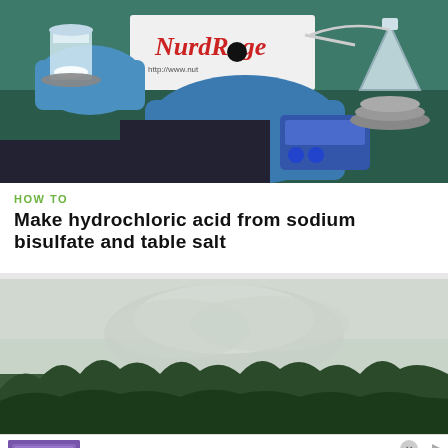[Figure (photo): Laboratory scene with gloved hands working with chemistry equipment on a green surface, with a NurdRage sign/logo visible in the background, a beaker, flask, and hot plate/stirrer visible.]
HOW TO
Make hydrochloric acid from sodium bisulfate and table salt
[Figure (photo): Outdoor scene showing a misty/foggy landscape with green trees below a grey cloudy sky.]
[Figure (screenshot): Advertisement for Wayfair.com showing 'Wayfair.com - Online Home Store Sale!' with text 'Shop for A Zillion Things Home across all styles at Wayfair!' and URL www.wayfair.com, alongside a purple-themed thumbnail and a circular arrow button.]